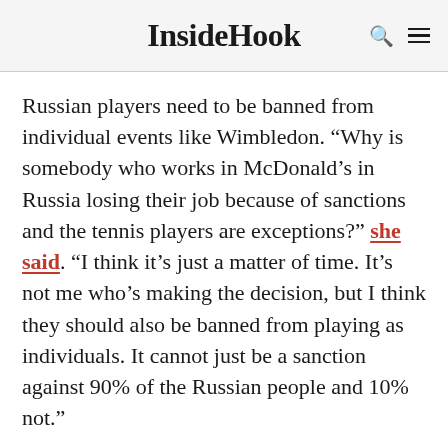InsideHook
Russian players need to be banned from individual events like Wimbledon. “Why is somebody who works in McDonald’s in Russia losing their job because of sanctions and the tennis players are exceptions?” she said. “I think it’s just a matter of time. It’s not me who’s making the decision, but I think they should also be banned from playing as individuals. It cannot just be a sanction against 90% of the Russian people and 10% not.”
By that logic, Russian NHL players like